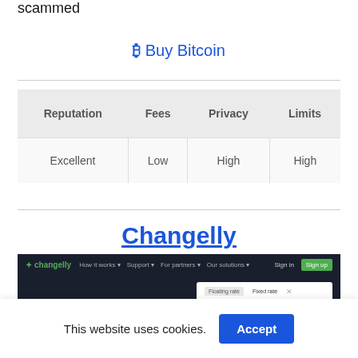scammed
₿ Buy Bitcoin
| Reputation | Fees | Privacy | Limits |
| --- | --- | --- | --- |
| Excellent | Low | High | High |
Changelly
[Figure (screenshot): Screenshot of Changelly website showing navigation bar with logo, menu links (How it works, Support, For partners, Our solutions), Sign in and Sign up buttons, and a card with Floating rate / Fixed rate tabs.]
This website uses cookies.
Accept